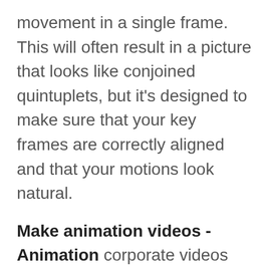movement in a single frame. This will often result in a picture that looks like conjoined quintuplets, but it's designed to make sure that your key frames are correctly aligned and that your motions look natural.
Make animation videos - Animation corporate videos can be of different types. For example, some the best animation videos out there do an effective job of engaging the viewer and